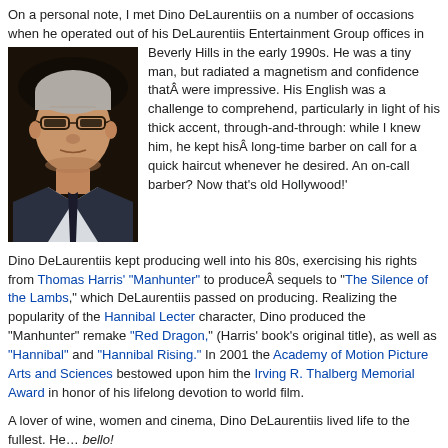On a personal note, I met Dino DeLaurentiis on a number of occasions when he operated out of his DeLaurentiis Entertainment Group offices in Beverly Hills in the early 1990s. He was a tiny man, but radiated a magnetism and confidence that were impressive. His English was a challenge to comprehend, particularly in light of his thick accent. Producer through-and-through: while I knew him, he kept his long-time barber on call for a quick haircut whenever he desired. An on-call barber? Now that’s old Hollywood!'
[Figure (photo): Portrait photo of Dino DeLaurentiis, an elderly man with gray hair and glasses, wearing a suit and tie.]
Dino DeLaurentiis kept producing well into his 80s, exercising his rights from Thomas Harris’ “Manhunter” to produce sequels to “The Silence of the Lambs,” which DeLaurentiis passed on producing. Realizing the popularity of the Hannibal Lecter character, Dino produced the “Manhunter” remake “Red Dragon,” (Harris’ book’s original title), as well as “Hannibal” and “Hannibal Rising.” In 2001 the Academy of Motion Picture Arts and Sciences bestowed upon him the Irving R. Thalberg Memorial Award in honor of his lifelong devotion to world film.
A lover of wine, women and cinema, Dino DeLaurentiis lived life to the fullest. He… bello!
Film History, Hollywood business
Alaska, Aurelio DeLaurentiis, Barbarella, Beverly Hills, Blue Velvet, celebrity chef, cookbook, DeLaurentiis Entertainment Group, Dino DeLaurentiis, Dune, Federico DeLaurentiis, Federico DeLaurentiis, Hannibal, Hannibal Lecter, Hannibal Rising, Ingmar Bergman, international co-production, King Kong, La Strada, Manhunter, Nights of Cabiria, Oscar, Peter Jackson, Raffaella DeLaurentiis, Serpico, The Silence of the Lambs, Thomas Harris, Three Days of the Condor